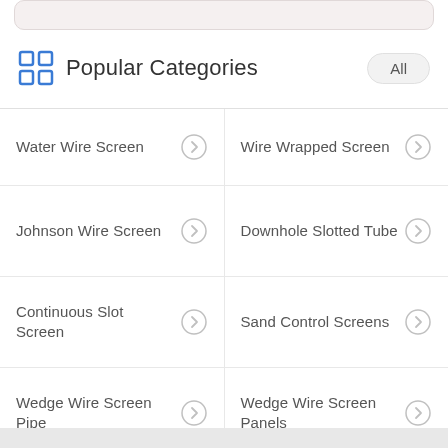Popular Categories
Water Wire Screen
Wire Wrapped Screen
Johnson Wire Screen
Downhole Slotted Tube
Continuous Slot Screen
Sand Control Screens
Wedge Wire Screen Pipe
Wedge Wire Screen Panels